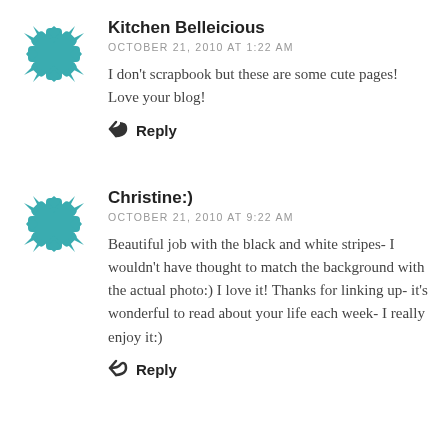[Figure (logo): Teal snowflake/asterisk avatar icon for Kitchen Belleicious]
Kitchen Belleicious
OCTOBER 21, 2010 AT 1:22 AM
I don't scrapbook but these are some cute pages! Love your blog!
↩ Reply
[Figure (logo): Teal snowflake/asterisk avatar icon for Christine:)]
Christine:)
OCTOBER 21, 2010 AT 9:22 AM
Beautiful job with the black and white stripes- I wouldn't have thought to match the background with the actual photo:) I love it! Thanks for linking up- it's wonderful to read about your life each week- I really enjoy it:)
↩ Reply